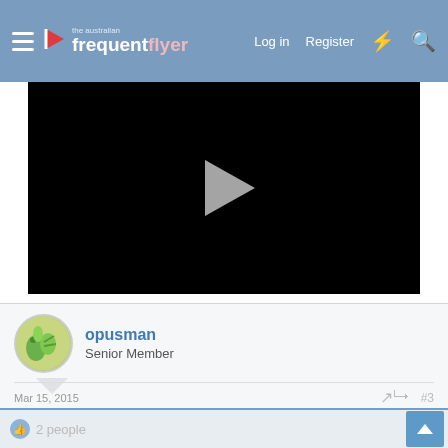the australian frequent flyer — Log in   Register
[Figure (screenshot): Black video player with play button in the center, partially visible on white background]
opusman
Senior Member
Mar 15, 2015   #3
Divide those figures by 100 I would say (i.e. they meant cents rather than dollars).
2 people